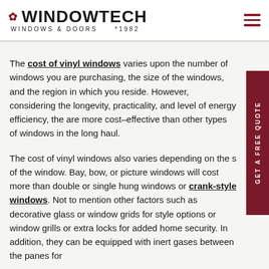WINDOWTECH WINDOWS & DOORS *1982
The cost of vinyl windows varies upon the number of windows you are purchasing, the size of the windows, and the region in which you reside. However, considering the longevity, practicality, and level of energy efficiency, the are more cost-effective than other types of windows in the long haul.
The cost of vinyl windows also varies depending on the style of the window. Bay, bow, or picture windows will cost more than double or single hung windows or crank-style windows. Not to mention other factors such as decorative glass or window grids for style options or window grills or extra locks for added home security. In addition, they can be equipped with inert gases between the panes for